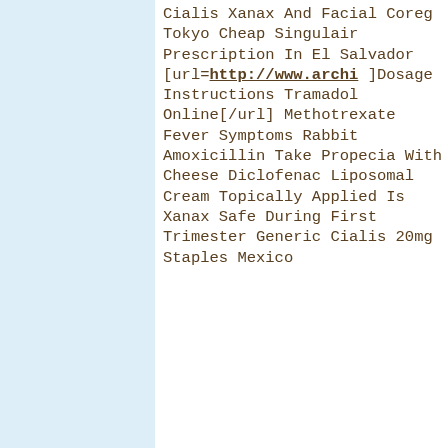Cialis Xanax And Facial Coreg Tokyo Cheap Singulair Prescription In El Salvador [url=http://www.archi]Dosage Instructions Tramadol Online[/url] Methotrexate Fever Symptoms Rabbit Amoxicillin Take Propecia With Cheese Diclofenac Liposomal Cream Topically Applied Is Xanax Safe During First Trimester Generic Cialis 20mg Staples Mexico